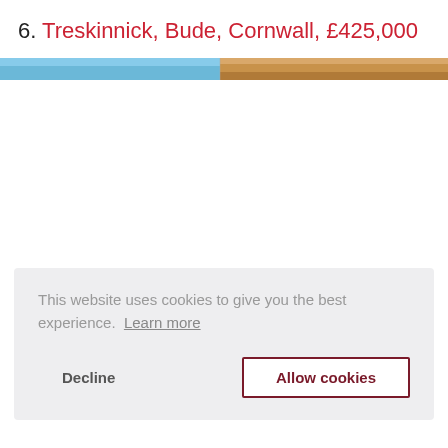6. Treskinnick, Bude, Cornwall, £425,000
[Figure (photo): Partial property photo showing sky and building exterior, cropped at top of page]
This website uses cookies to give you the best experience.  Learn more
Decline   Allow cookies